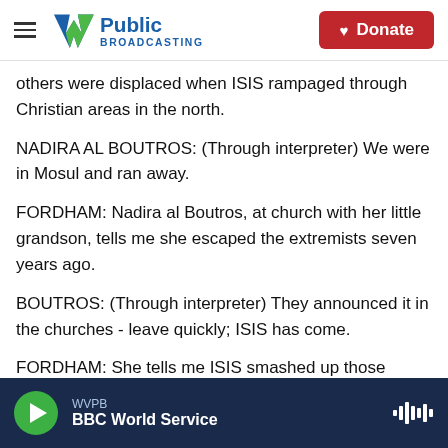WV Public Broadcasting — Donate
others were displaced when ISIS rampaged through Christian areas in the north.
NADIRA AL BOUTROS: (Through interpreter) We were in Mosul and ran away.
FORDHAM: Nadira al Boutros, at church with her little grandson, tells me she escaped the extremists seven years ago.
BOUTROS: (Through interpreter) They announced it in the churches - leave quickly; ISIS has come.
FORDHAM: She tells me ISIS smashed up those
WVPB — BBC World Service